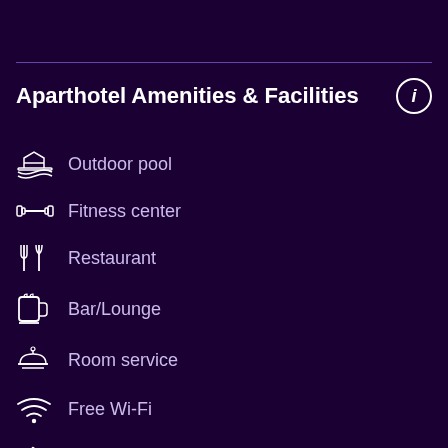Aparthotel Amenities & Facilities
Outdoor pool
Fitness center
Restaurant
Bar/Lounge
Room service
Free Wi-Fi
Tea/coffee maker